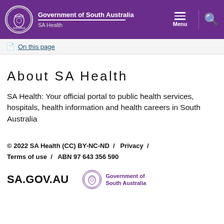Government of South Australia — SA Health — Menu / Search
On this page
About SA Health
SA Health: Your official portal to public health services, hospitals, health information and health careers in South Australia
© 2022 SA Health (CC) BY-NC-ND / Privacy / Terms of use / ABN 97 643 356 590
SA.GOV.AU
Government of South Australia